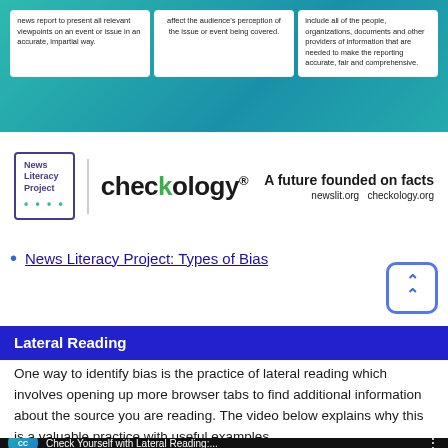[Figure (infographic): Checkology infographic with three white cards on a teal/blue gradient background showing journalism principles, with News Literacy Project and Checkology logos.]
News Literacy Project: Types of Bias
Lateral Reading
One way to identify bias is the practice of lateral reading which involves opening up more browser tabs to find additional information about the source you are reading. The video below explains why this is a valuable practice with useful examples.
[Figure (screenshot): YouTube video thumbnail for 'Check Yourself with Lateral Reading:...' with CrashCourse CC logo]